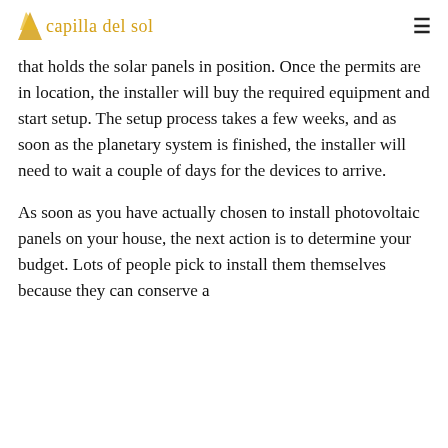capilla del sol
that holds the solar panels in position. Once the permits are in location, the installer will buy the required equipment and start setup. The setup process takes a few weeks, and as soon as the planetary system is finished, the installer will need to wait a couple of days for the devices to arrive.
As soon as you have actually chosen to install photovoltaic panels on your house, the next action is to determine your budget. Lots of people pick to install them themselves because they can conserve a